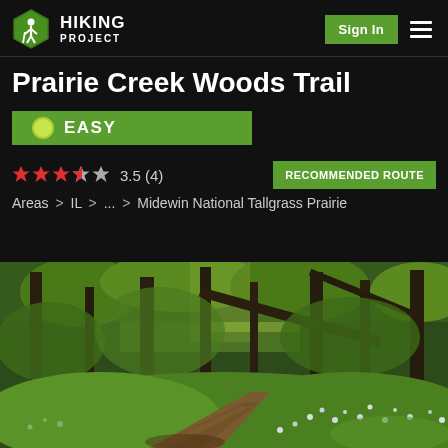Hiking Project — Sign In
Prairie Creek Woods Trail
EASY
3.5 (4) RECOMMENDED ROUTE
Areas > IL > ... > Midewin National Tallgrass Prairie
[Figure (photo): Forest trail through wooded area with green undergrowth and white wildflowers, dappled sunlight through tree canopy]